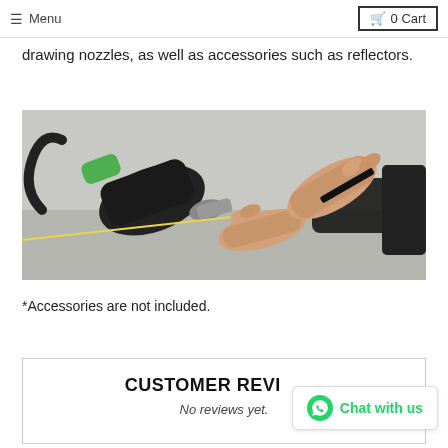≡ Menu   🛒 0 Cart
drawing nozzles, as well as accessories such as reflectors.
[Figure (photo): Hands using a plastic welding tool, with a thin rod being fed into the nozzle. A black hot-air welding gun is visible on the left with a green handle and a hose.]
*Accessories are not included.
CUSTOMER REVIEWS
No reviews yet.